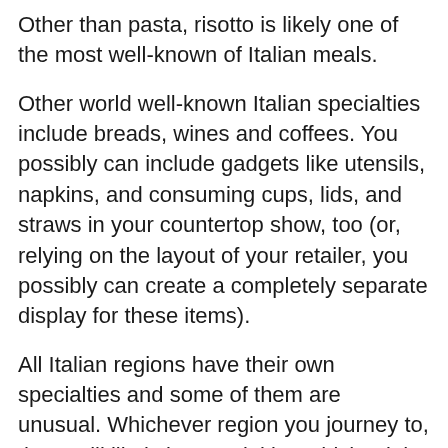Other than pasta, risotto is likely one of the most well-known of Italian meals.
Other world well-known Italian specialties include breads, wines and coffees. You possibly can include gadgets like utensils, napkins, and consuming cups, lids, and straws in your countertop show, too (or, relying on the layout of your retailer, you possibly can create a completely separate display for these items).
All Italian regions have their own specialties and some of them are unusual. Whichever region you journey to, there will likely be specialties which might be based mostly on what meals was historically out there. The main factor right here is